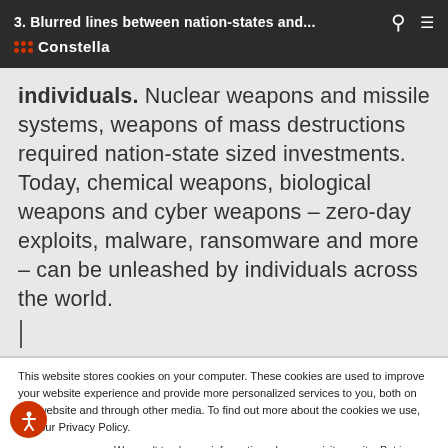3. Blurred lines between nation-states and... | Constella
individuals. Nuclear weapons and missile systems, weapons of mass destructions required nation-state sized investments. Today, chemical weapons, biological weapons and cyber weapons – zero-day exploits, malware, ransomware and more – can be unleashed by individuals across the world.
This website stores cookies on your computer. These cookies are used to improve your website experience and provide more personalized services to you, both on this website and through other media. To find out more about the cookies we use, see our Privacy Policy.
We won't track your information when you visit our site. But in order to comply with your preferences, we'll have to use just one tiny cookie so that you're not asked to make this choice again.